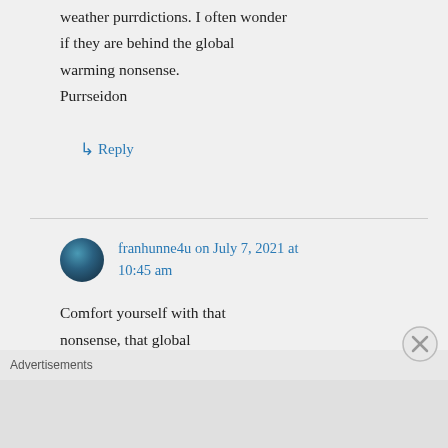weather purrdictions. I often wonder if they are behind the global warming nonsense. Purrseidon
↳ Reply
franhunne4u on July 7, 2021 at 10:45 am
Comfort yourself with that nonsense, that global warming is nonsense … you will need that comfort.
Advertisements